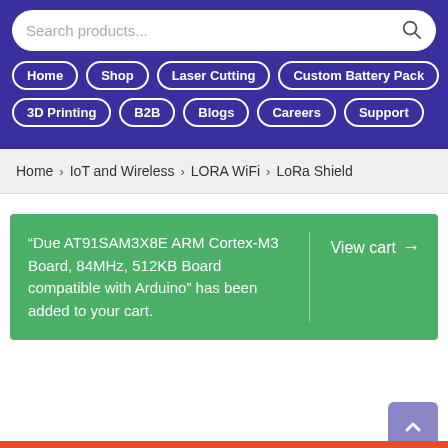Search products...
Home
Shop
Laser Cutting
Custom Battery Pack
3D Printing
B2B
Blogs
Careers
Support
Home > IoT and Wireless > LORA WiFi > LoRa Shield
“Due AT91SAM3X8E ARM Cortex-M3 Board, 84MHz, 512KB Board compatible with Arduino” has been added to your cart. View cart →